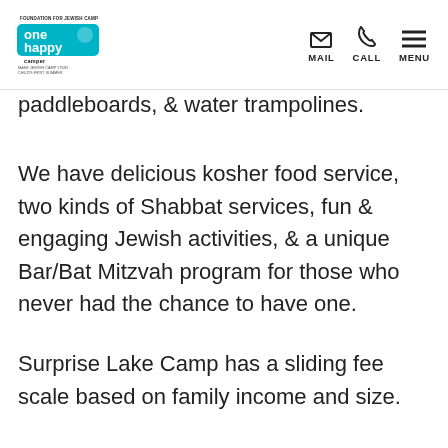one happy camper | MAIL | CALL | MENU
paddleboards, & water trampolines.
We have delicious kosher food service, two kinds of Shabbat services, fun & engaging Jewish activities, & a unique Bar/Bat Mitzvah program for those who never had the chance to have one.
Surprise Lake Camp has a sliding fee scale based on family income and size.